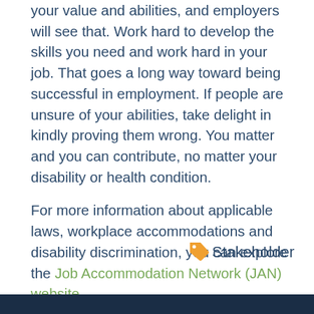your value and abilities, and employers will see that. Work hard to develop the skills you need and work hard in your job. That goes a long way toward being successful in employment. If people are unsure of your abilities, take delight in kindly proving them wrong. You matter and you can contribute, no matter your disability or health condition.

For more information about applicable laws, workplace accommodations and disability discrimination, you can explore the Job Accommodation Network (JAN) website.
[Figure (other): Orange tag/label icon followed by the word 'Stakeholder' in dark blue text]